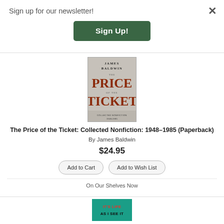Sign up for our newsletter!
Sign Up!
[Figure (illustration): Book cover of 'The Price of the Ticket: Collected Nonfiction 1948-1985' by James Baldwin. Gray/silver textured cover with author name at top and large red-brown title text.]
The Price of the Ticket: Collected Nonfiction: 1948–1985 (Paperback)
By James Baldwin
$24.95
Add to Cart
Add to Wish List
On Our Shelves Now
[Figure (illustration): Partial view of another book cover with teal/green background and red text reading 'IT'S LIFE']